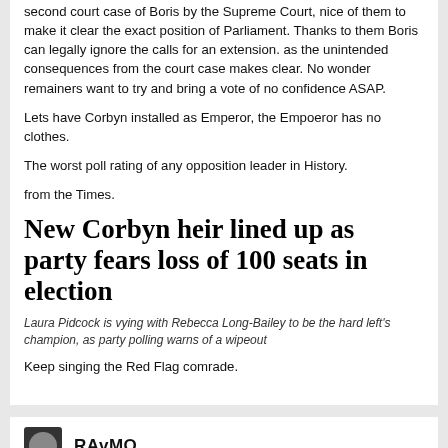second court case of Boris by the Supreme Court, nice of them to make it clear the exact position of Parliament. Thanks to them Boris can legally ignore the calls for an extension. as the unintended consequences from the court case makes clear. No wonder remainers want to try and bring a vote of no confidence ASAP.
Lets have Corbyn installed as Emperor, the Empoeror has no clothes.
The worst poll rating of any opposition leader in History.
from the Times.
New Corbyn heir lined up as party fears loss of 100 seats in election
Laura Pidcock is vying with Rebecca Long-Bailey to be the hard left's champion, as party polling warns of a wipeout
Keep singing the Red Flag comrade.
RAvMO